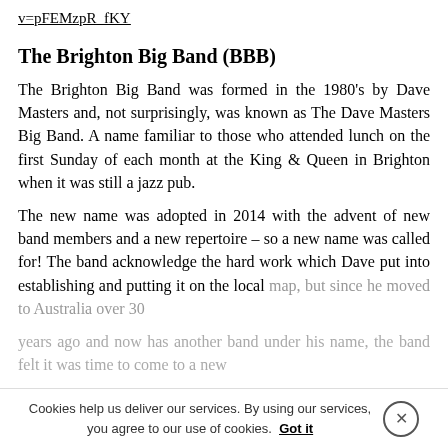v=pFEMzpR_fKY
The Brighton Big Band (BBB)
The Brighton Big Band was formed in the 1980's by Dave Masters and, not surprisingly, was known as The Dave Masters Big Band. A name familiar to those who attended lunch on the first Sunday of each month at the King & Queen in Brighton when it was still a jazz pub.
The new name was adopted in 2014 with the advent of new band members and a new repertoire – so a new name was called for! The band acknowledge the hard work which Dave put into establishing and putting it on the local map, but since he moved to Australia over 30 years ago and now has another band under his name, the band felt it was time to come to a new...
Cookies help us deliver our services. By using our services, you agree to our use of cookies. Got it